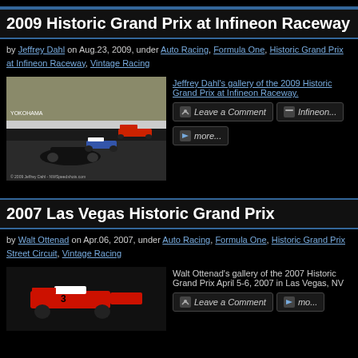2009 Historic Grand Prix at Infineon Raceway
by Jeffrey Dahl on Aug.23, 2009, under Auto Racing, Formula One, Historic Grand Prix at Infineon Raceway, Vintage Racing
[Figure (photo): Vintage Formula One racing cars on track at Infineon Raceway, 2009 Historic Grand Prix]
Jeffrey Dahl's gallery of the 2009 Historic Grand Prix at Infineon Raceway.
Leave a Comment | Infineon...
more...
2007 Las Vegas Historic Grand Prix
by Walt Ottenad on Apr.06, 2007, under Auto Racing, Formula One, Historic Grand Prix Street Circuit, Vintage Racing
Walt Ottenad's gallery of the 2007 Historic Grand Prix April 5-6, 2007 in Las Vegas, NV
[Figure (photo): Vintage racing car at the 2007 Las Vegas Historic Grand Prix]
Leave a Comment | mo...